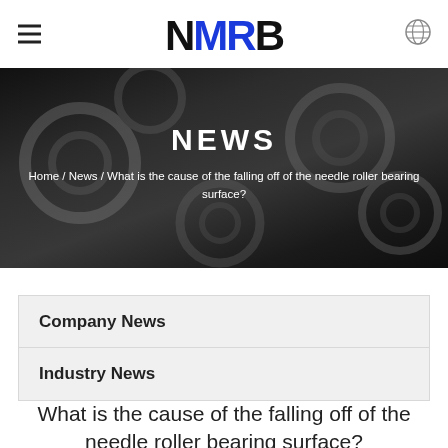NMRB (logo) with hamburger menu and globe icon
[Figure (photo): Hero banner with dark background showing various ball and roller bearings, with text NEWS and breadcrumb navigation]
NEWS
Home / News / What is the cause of the falling off of the needle roller bearing surface?
Company News
Industry News
What is the cause of the falling off of the needle roller bearing surface?
Update: 27-01-2022